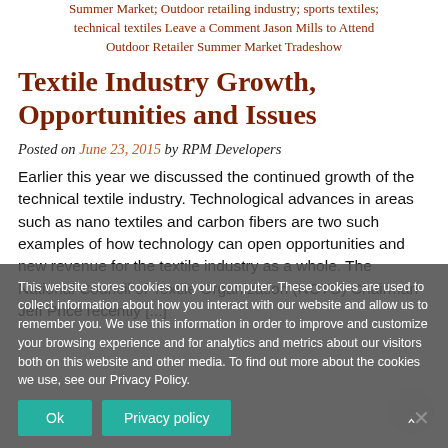Summer Market; Outdoor retailing industry; sports textiles; technical textiles Leave a Comment Jason Mills to Attend Outdoor Retailer Summer Market Tradeshow
Textile Industry Growth, Opportunities and Issues
Posted on June 23, 2015 by RPM Developers
Earlier this year we discussed the continued growth of the technical textile industry. Technological advances in areas such as nano textiles and carbon fibers are two such examples of how technology can open opportunities and new revenue for the textile industry as a whole. The National Council of Textile Organization (NCTO) Chairman Jeff Price recently [...]
This website stores cookies on your computer. These cookies are used to collect information about how you interact with our website and allow us to remember you. We use this information in order to improve and customize your browsing experience and for analytics and metrics about our visitors both on this website and other media. To find out more about the cookies we use, see our Privacy Policy.